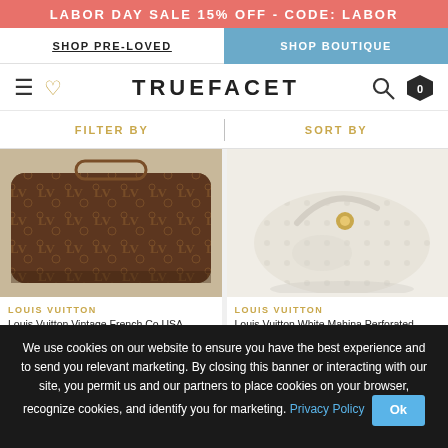LABOR DAY SALE 15% OFF - CODE: LABOR
SHOP PRE-LOVED | SHOP BOUTIQUE
TRUEFACET
FILTER BY | SORT BY
[Figure (photo): Louis Vuitton Vintage French Co USA Monogram Speedy 30 Boston Bag - brown monogram canvas]
[Figure (photo): Louis Vuitton White Mahina Perforated Leather Solar PM Hobo Bag 241492 - white perforated leather]
LOUIS VUITTON
Louis Vuitton Vintage French Co USA Monogram Speedy 30 Boston Bag
$1,242
LOUIS VUITTON
Louis Vuitton White Mahina Perforated Leather Solar PM Hobo Bag 241492
$2,340
We use cookies on our website to ensure you have the best experience and to send you relevant marketing. By closing this banner or interacting with our site, you permit us and our partners to place cookies on your browser, recognize cookies, and identify you for marketing. Privacy Policy Ok